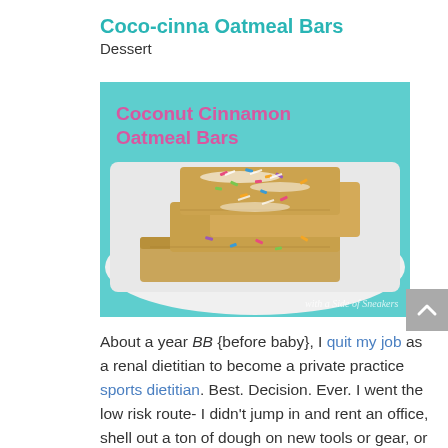Coco-cinna Oatmeal Bars
Dessert
[Figure (photo): Photo of Coconut Cinnamon Oatmeal Bars stacked on a white plate with colorful sprinkles and shredded coconut on top, on a teal background. Text overlay reads 'Coconut Cinnamon Oatmeal Bars'. Watermark: 'with a Side of Sneakers'.]
About a year BB {before baby}, I quit my job as a renal dietitian to become a private practice sports dietitian. Best. Decision. Ever. I went the low risk route- I didn't jump in and rent an office, shell out a ton of dough on new tools or gear, or pour money into advertising and